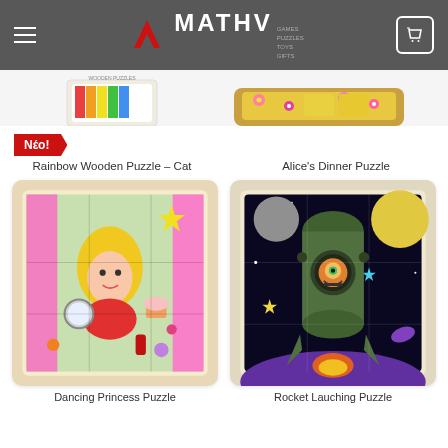MATHV — Games, Puzzles, Toys, Gifts — navigation header
[Figure (photo): Partial product image top-left: Rainbow wooden puzzle box with colorful design]
[Figure (photo): Partial product image top-right: Alice's Dinner Puzzle wooden tray with floral design]
Νέο!
Rainbow Wooden Puzzle – Cat
Alice's Dinner Puzzle
[Figure (photo): Dancing Princess Puzzle — wooden puzzle with colorful princess putting on makeup, pink and green tones]
[Figure (photo): Rocket Lauching Puzzle — wooden puzzle with cartoon rocket in space, green rocket with one-eyed alien monster]
Dancing Princess Puzzle
Rocket Lauching Puzzle